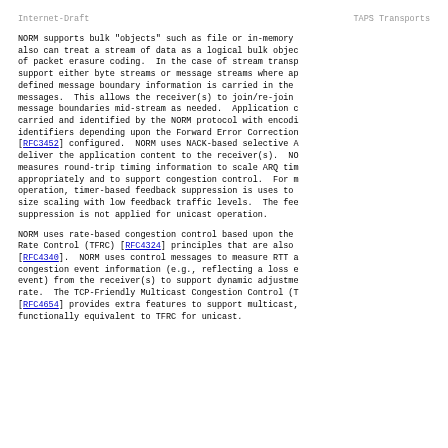Internet-Draft                    TAPS Transports
NORM supports bulk "objects" such as file or in-memory also can treat a stream of data as a logical bulk objec of packet erasure coding.  In the case of stream transp support either byte streams or message streams where ap defined message boundary information is carried in the messages.  This allows the receiver(s) to join/re-join message boundaries mid-stream as needed.  Application c carried and identified by the NORM protocol with encodi identifiers depending upon the Forward Error Correction [RFC3452] configured.  NORM uses NACK-based selective A deliver the application content to the receiver(s).  NO measures round-trip timing information to scale ARQ tim appropriately and to support congestion control.  For m operation, timer-based feedback suppression is uses to size scaling with low feedback traffic levels.  The fee suppression is not applied for unicast operation.
NORM uses rate-based congestion control based upon the Rate Control (TFRC) [RFC4324] principles that are also [RFC4340].  NORM uses control messages to measure RTT a congestion event information (e.g., reflecting a loss e event) from the receiver(s) to support dynamic adjustme rate.  The TCP-Friendly Multicast Congestion Control (T [RFC4654] provides extra features to support multicast, functionally equivalent to TFRC for unicast.